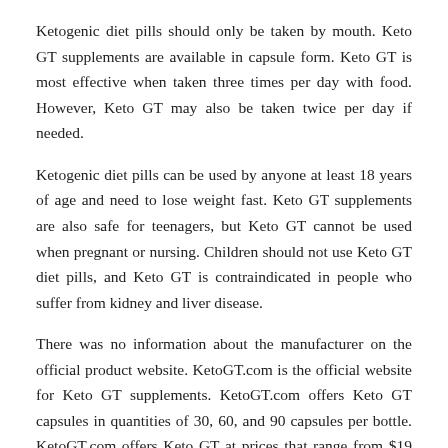Ketogenic diet pills should only be taken by mouth. Keto GT supplements are available in capsule form. Keto GT is most effective when taken three times per day with food. However, Keto GT may also be taken twice per day if needed.
Ketogenic diet pills can be used by anyone at least 18 years of age and need to lose weight fast. Keto GT supplements are also safe for teenagers, but Keto GT cannot be used when pregnant or nursing. Children should not use Keto GT diet pills, and Keto GT is contraindicated in people who suffer from kidney and liver disease.
There was no information about the manufacturer on the official product website. KetoGT.com is the official website for Keto GT supplements. KetoGT.com offers Keto GT capsules in quantities of 30, 60, and 90 capsules per bottle. KetoGT.com offers Keto GT at prices that range from $19 to $32 per bottle, depending on how many bottles you buy at one time. KetoGT.com does not offer Keto GT for sale on Amazon or eBay. KetoGT.com also does not sell their Keto GT supplement through any significant retailers like Walmart or GNC.